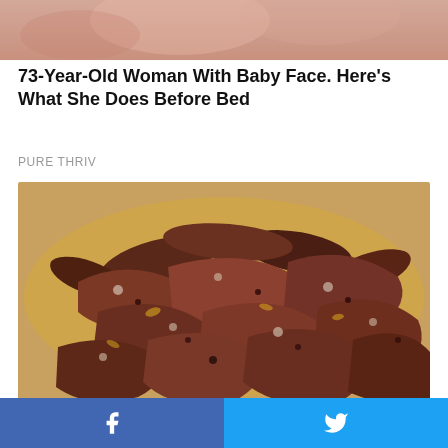[Figure (photo): Close-up photo of a woman's face near the top of the page]
73-Year-Old Woman With Baby Face. Here's What She Does Before Bed
PURE THRIV
[Figure (photo): Close-up photo of a pile of dark brown dried meat or organ pieces]
Diabetes Is Not From Sweets! Meet The Main Enemy Of Diabetes
Facebook share | Twitter share social bar